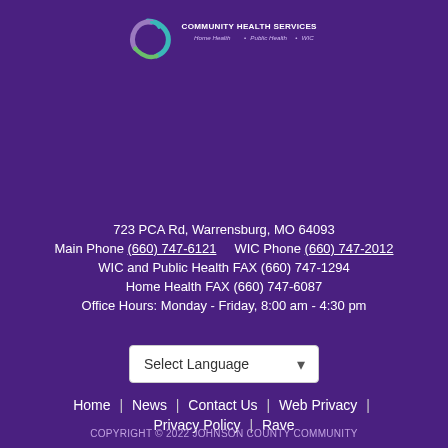[Figure (logo): Johnson County Community Health Services logo with circular teal/purple/lavender swirl graphic and text: COMMUNITY HEALTH SERVICES, Home Health • Public Health • WIC]
723 PCA Rd, Warrensburg, MO 64093
Main Phone (660) 747-6121      WIC Phone (660) 747-2012
WIC and Public Health FAX (660) 747-1294
Home Health FAX (660) 747-6087
Office Hours: Monday - Friday, 8:00 am - 4:30 pm
Select Language
Home | News | Contact Us | Web Privacy | Privacy Policy | Rave
COPYRIGHT © 2022 JOHNSON COUNTY COMMUNITY